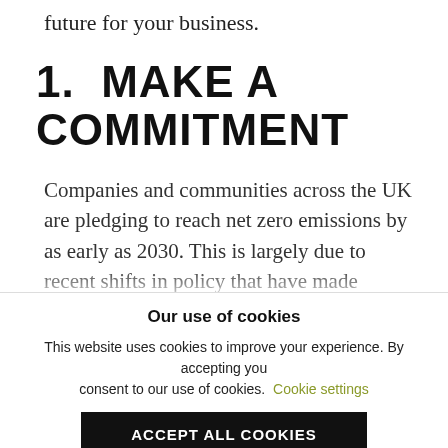future for your business.
1.  MAKE A COMMITMENT
Companies and communities across the UK are pledging to reach net zero emissions by as early as 2030. This is largely due to recent shifts in policy that have made carbon monitoring and reporting an inevitable part of business practices. Climate-related risks are also beginning to play an important, even mandatory, role in investment decisions. This means
Our use of cookies
This website uses cookies to improve your experience. By accepting you consent to our use of cookies. Cookie settings
ACCEPT ALL COOKIES
For more detailed information, please check our Privacy Policy and Cookie Policy